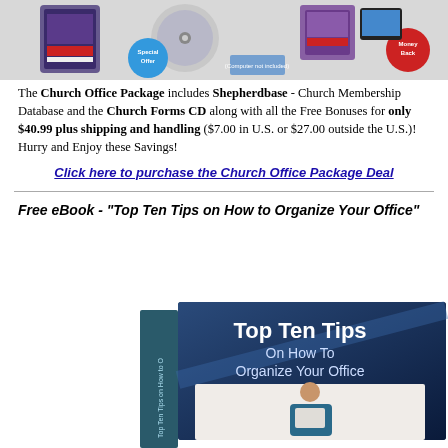[Figure (photo): Product image showing Church Office Package with software box, CD, and various items]
The Church Office Package includes Shepherdbase - Church Membership Database and the Church Forms CD along with all the Free Bonuses for only $40.99 plus shipping and handling ($7.00 in U.S. or $27.00 outside the U.S.)! Hurry and Enjoy these Savings!
Click here to purchase the Church Office Package Deal
Free eBook - "Top Ten Tips on How to Organize Your Office"
[Figure (photo): Book cover image of 'Top Ten Tips On How To Organize Your Office' eBook showing a woman at a desk]